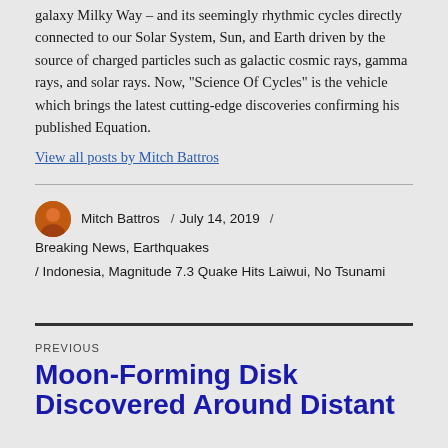galaxy Milky Way – and its seemingly rhythmic cycles directly connected to our Solar System, Sun, and Earth driven by the source of charged particles such as galactic cosmic rays, gamma rays, and solar rays. Now, "Science Of Cycles" is the vehicle which brings the latest cutting-edge discoveries confirming his published Equation.
View all posts by Mitch Battros
Mitch Battros / July 14, 2019 / Breaking News, Earthquakes / Indonesia, Magnitude 7.3 Quake Hits Laiwui, No Tsunami
PREVIOUS
Moon-Forming Disk Discovered Around Distant